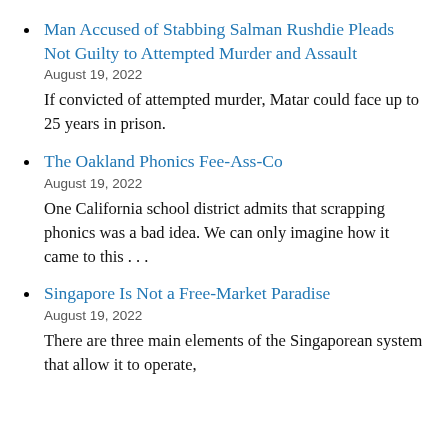Man Accused of Stabbing Salman Rushdie Pleads Not Guilty to Attempted Murder and Assault
August 19, 2022
If convicted of attempted murder, Matar could face up to 25 years in prison.
The Oakland Phonics Fee-Ass-Co
August 19, 2022
One California school district admits that scrapping phonics was a bad idea. We can only imagine how it came to this . . .
Singapore Is Not a Free-Market Paradise
August 19, 2022
There are three main elements of the Singaporean system that allow it to operate,